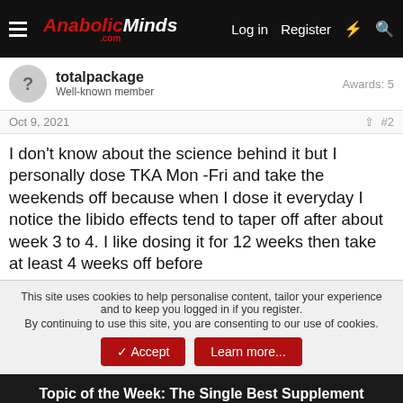AnabolicMinds.com — Log in  Register
totalpackage
Well-known member
Awards: 5
Oct 9, 2021  #2
I don't know about the science behind it but I personally dose TKA Mon -Fri and take the weekends off because when I dose it everyday I notice the libido effects tend to taper off after about week 3 to 4. I like dosing it for 12 weeks then take at least 4 weeks off before
This site uses cookies to help personalise content, tailor your experience and to keep you logged in if you register.
By continuing to use this site, you are consenting to our use of cookies.
[Accept] [Learn more...]
Topic of the Week: The Single Best Supplement You've Taken